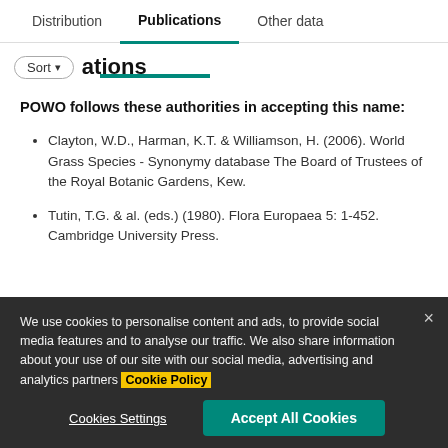Distribution | Publications | Other data
POWO follows these authorities in accepting this name:
Clayton, W.D., Harman, K.T. & Williamson, H. (2006). World Grass Species - Synonymy database The Board of Trustees of the Royal Botanic Gardens, Kew.
Tutin, T.G. & al. (eds.) (1980). Flora Europaea 5: 1-452. Cambridge University Press.
We use cookies to personalise content and ads, to provide social media features and to analyse our traffic. We also share information about your use of our site with our social media, advertising and analytics partners Cookie Policy
Cookies Settings
Accept All Cookies